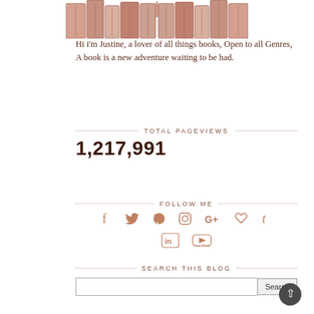[Figure (illustration): Decorative image of stylized books arranged in a row with ornamental covers, in reddish-brown tones]
Hi i'm Justine, a lover of all things books, Open to all Genres, A book is a new adventure waiting to be had.
TOTAL PAGEVIEWS
1,217,991
FOLLOW ME
[Figure (infographic): Social media icons row: Facebook, Twitter, Pinterest, Instagram, Google+, Heart/Bloglovin, Tumblr; second row: LinkedIn, YouTube]
SEARCH THIS BLOG
Search input box with Search button